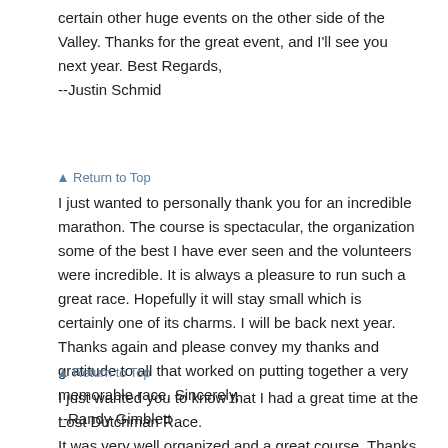certain other huge events on the other side of the Valley. Thanks for the great event, and I'll see you next year. Best Regards,
--Justin Schmid
▲ Return to Top
I just wanted to personally thank you for an incredible marathon. The course is spectacular, the organization some of the best I have ever seen and the volunteers were incredible. It is always a pleasure to run such a great race. Hopefully it will stay small which is certainly one of its charms. I will be back next year. Thanks again and please convey my thanks and gratitude to all that worked on putting together a very memorable race. Sincerely,
--Randy Gimblett
▲ Return to Top
I just wanted you to know that I had a great time at the Lost Dutchman Race.
It was very well organized and a great course. Thanks for putting on such
a good race. I entered the 10K but hope to do the 1/2 marathon next